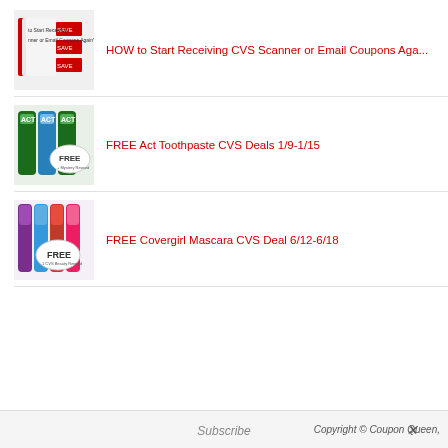HOW to Start Receiving CVS Scanner or Email Coupons Aga...
FREE Act Toothpaste CVS Deals 1/9-1/15
FREE Covergirl Mascara CVS Deal 6/12-6/18
Copyright © Coupon Queen,